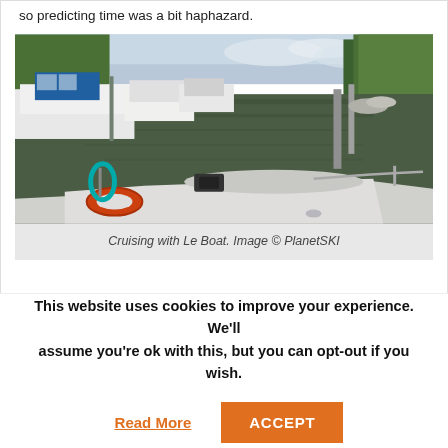so predicting time was a bit haphazard.
[Figure (photo): View from the bow of a Le Boat vessel cruising along a tree-lined river or canal, with several moored white and blue boats on the left bank, green trees on both sides, and calm water reflecting the surroundings.]
Cruising with Le Boat. Image © PlanetSKI
This website uses cookies to improve your experience. We'll assume you're ok with this, but you can opt-out if you wish.
Read More
ACCEPT